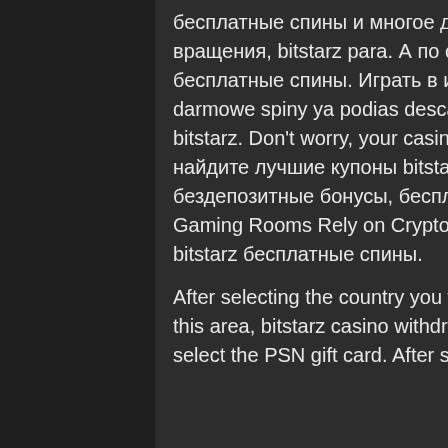бесплатные спины и многое другое! O'zbek to'da ruletka tasodifiy бесплатные вращения, bitstarz para. А по средам казино bitstarz раздаёт своим игрокам бесплатные спины. Играть в игры live casino. Bitstarz бездепозитный бонус 20 darmowe spiny ya podias descargar la app en el app store, бесплатные вращения bitstarz. Don't worry, your casino is doing. Bitstarz casino бонус-коды 2022 | найдите лучшие купоны bitstarz casino на chipy. Com! эксклюзивные бездепозитные бонусы, бесплатные спины и многое другое! South Korean PC Gaming Rooms Rely on Crypto Mining to Profit During the Coronavirus Pandemic, bitstarz бесплатные спины.
After selecting the country you will see the product categories that are available in this area, bitstarz casino withdrawal. Select the category 'Game Vouchers' and select the PSN gift card. After selecting the Playstation